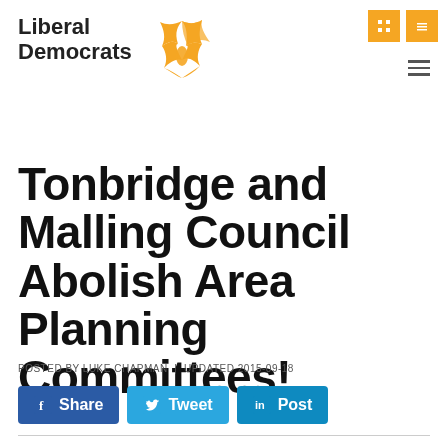[Figure (logo): Liberal Democrats logo with golden bird/flame emblem and bold text 'Liberal Democrats']
Tonbridge and Malling Council Abolish Area Planning Committees!
POSTED BY LUKE CHAPMAN | UPDATED 2015-09-18
[Figure (infographic): Social share buttons: Facebook Share, Twitter Tweet, LinkedIn Post]